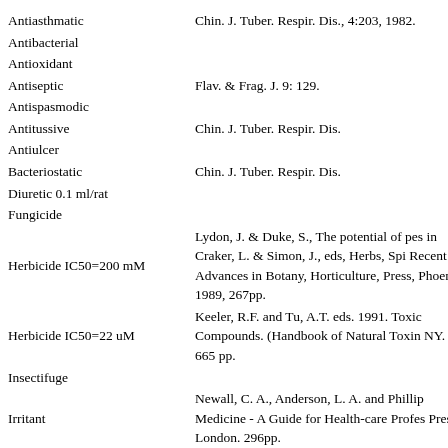| Activity | Reference |
| --- | --- |
| Antiasthmatic | Chin. J. Tuber. Respir. Dis., 4:203, 1982. |
| Antibacterial |  |
| Antioxidant |  |
| Antiseptic | Flav. & Frag. J. 9: 129. |
| Antispasmodic |  |
| Antitussive | Chin. J. Tuber. Respir. Dis. |
| Antiulcer |  |
| Bacteriostatic | Chin. J. Tuber. Respir. Dis. |
| Diuretic 0.1 ml/rat |  |
| Fungicide |  |
| Herbicide IC50=200 mM | Lydon, J. & Duke, S., The potential of pes in Craker, L. & Simon, J., eds, Herbs, Spi Recent Advances in Botany, Horticulture, Press, Phoenix, 1989, 267pp. |
| Herbicide IC50=22 uM | Keeler, R.F. and Tu, A.T. eds. 1991. Toxic Compounds. (Handbook of Natural Toxin NY. 665 pp. |
| Insectifuge |  |
| Irritant | Newall, C. A., Anderson, L. A. and Phillip Medicine - A Guide for Health-care Profes Press, London. 296pp. |
| Nematicide MLC=1 | Shoyakugaku Zasshi 44: 183. |